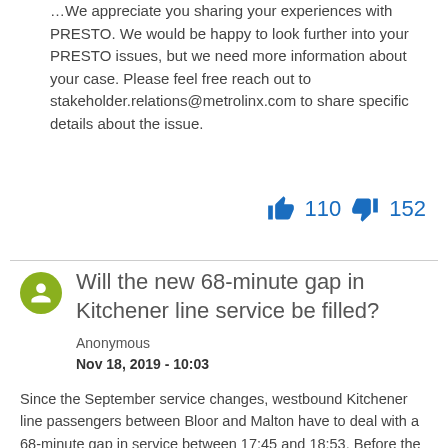We appreciate you sharing your experiences with PRESTO. We would be happy to look further into your PRESTO issues, but we need more information about your case. Please feel free reach out to stakeholder.relations@metrolinx.com to share specific details about the issue.
👍 110 👎 152
Will the new 68-minute gap in Kitchener line service be filled?
Anonymous
Nov 18, 2019 - 10:03
Since the September service changes, westbound Kitchener line passengers between Bloor and Malton have to deal with a 68-minute gap in service between 17:45 and 18:53. Before the changes...